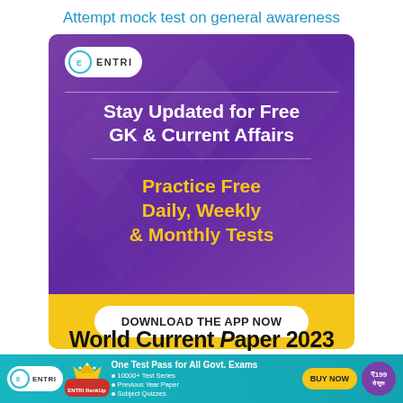Attempt mock test on general awareness
[Figure (infographic): ENTRI app advertisement banner with purple background. Top section shows ENTRI logo, then 'Stay Updated for Free GK & Current Affairs' in white bold text. Below separator shows 'Practice Free Daily, Weekly & Monthly Tests' in yellow text. Bottom yellow section has 'DOWNLOAD THE APP NOW' white button.]
World Current Events 2023
[Figure (infographic): ENTRI footer advertisement bar with teal/cyan background. Shows ENTRI logo, RankUp badge, 'One Test Pass for All Govt. Exams' text, bullets: 10000+ Test Series, Previous Year Paper, Subject Quizzes. BUY NOW button in yellow, price badge showing ₹199 से शुरू in purple circle.]